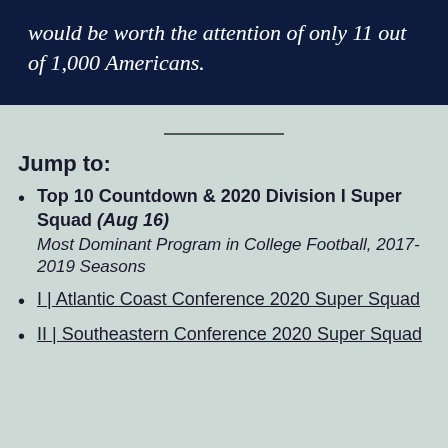would be worth the attention of only 11 out of 1,000 Americans.
Jump to:
Top 10 Countdown & 2020 Division I Super Squad (Aug 16)
Most Dominant Program in College Football, 2017-2019 Seasons
I | Atlantic Coast Conference 2020 Super Squad
II | Southeastern Conference 2020 Super Squad